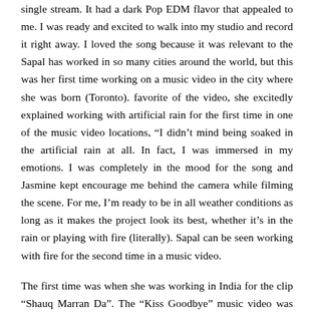single stream. It had a dark Pop EDM flavor that appealed to me. I was ready and excited to walk into my studio and record it right away. I loved the song because it was relevant to the Sapal has worked in so many cities around the world, but this was her first time working on a music video in the city where she was born (Toronto). favorite of the video, she excitedly explained working with artificial rain for the first time in one of the music video locations, “I didn’t mind being soaked in the artificial rain at all. In fact, I was immersed in my emotions. I was completely in the mood for the song and Jasmine kept encourage me behind the camera while filming the scene. For me, I’m ready to be in all weather conditions as long as it makes the project look its best, whether it’s in the rain or playing with fire (literally). Sapal can be seen working with fire for the second time in a music video.
The first time was when she was working in India for the clip “Shauq Marran Da”. The “Kiss Goodbye” music video was shot in a matter of days and in many different sets around Toronto. Sapal’s last release was a sweet and melodious love song called “Hichki” released by Jass Records and has now released “Kiss Goodbye”, which is the complete opposite in terms of theme. “I don’t like to be seen as the two good shoes all the time. While the focus of my persona online, I also have a dark side that comes